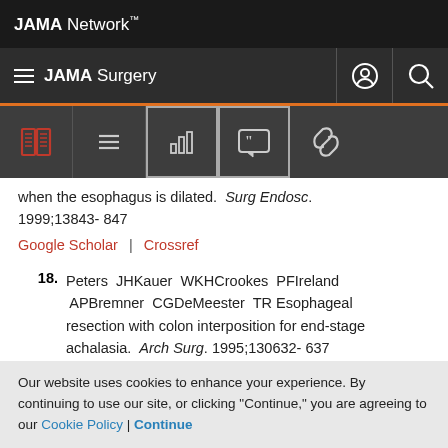JAMA Network
JAMA Surgery
when the esophagus is dilated. Surg Endosc. 1999;13843- 847
Google Scholar | Crossref
18. Peters JHKauer WKHCrookes PFIreland APBremner CGDeMeester TR Esophageal resection with colon interposition for end-stage achalasia. Arch Surg. 1995;130632- 637
Article | Google Scholar | Crossref
Our website uses cookies to enhance your experience. By continuing to use our site, or clicking "Continue," you are agreeing to our Cookie Policy | Continue